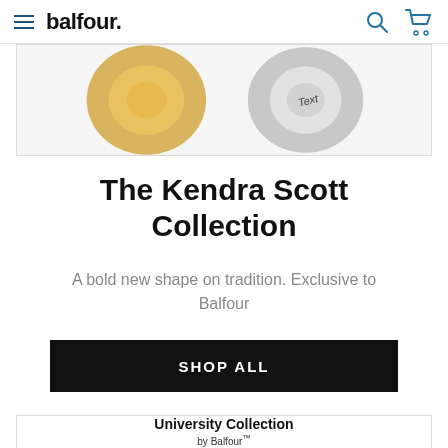balfour.
[Figure (photo): Jewelry rings photo showing a gold ring and a silver ring engraved with 'Text']
The Kendra Scott Collection
A bold new shape on tradition. Exclusive to Balfour
SHOP ALL
University Collection by Balfour™